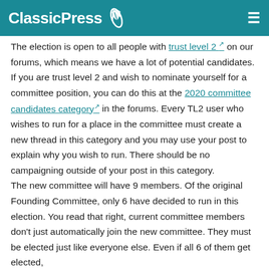ClassicPress
The election is open to all people with trust level 2 on our forums, which means we have a lot of potential candidates. If you are trust level 2 and wish to nominate yourself for a committee position, you can do this at the 2020 committee candidates category in the forums. Every TL2 user who wishes to run for a place in the committee must create a new thread in this category and you may use your post to explain why you wish to run. There should be no campaigning outside of your post in this category.
The new committee will have 9 members. Of the original Founding Committee, only 6 have decided to run in this election. You read that right, current committee members don't just automatically join the new committee. They must be elected just like everyone else. Even if all 6 of them get elected,